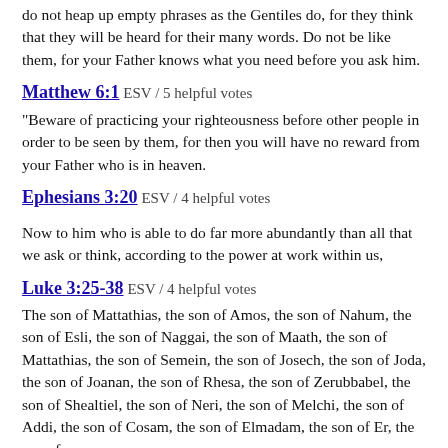do not heap up empty phrases as the Gentiles do, for they think that they will be heard for their many words. Do not be like them, for your Father knows what you need before you ask him.
Matthew 6:1 ESV / 5 helpful votes
“Beware of practicing your righteousness before other people in order to be seen by them, for then you will have no reward from your Father who is in heaven.
Ephesians 3:20 ESV / 4 helpful votes
Now to him who is able to do far more abundantly than all that we ask or think, according to the power at work within us,
Luke 3:25-38 ESV / 4 helpful votes
The son of Mattathias, the son of Amos, the son of Nahum, the son of Esli, the son of Naggai, the son of Maath, the son of Mattathias, the son of Semein, the son of Josech, the son of Joda, the son of Joanan, the son of Rhesa, the son of Zerubbabel, the son of Shealtiel, the son of Neri, the son of Melchi, the son of Addi, the son of Cosam, the son of Elmadam, the son of Er, the son of